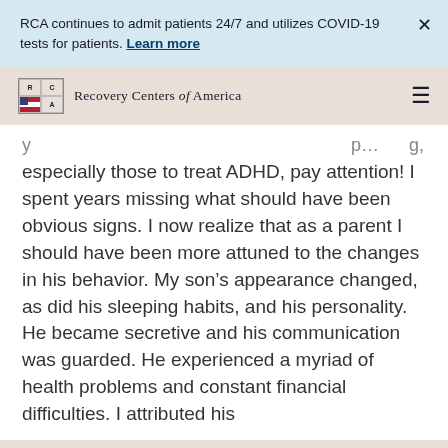RCA continues to admit patients 24/7 and utilizes COVID-19 tests for patients. Learn more
[Figure (logo): Recovery Centers of America logo with RCA grid and American flag icon, followed by brand name text]
especially those to treat ADHD, pay attention! I spent years missing what should have been obvious signs. I now realize that as a parent I should have been more attuned to the changes in his behavior. My son’s appearance changed, as did his sleeping habits, and his personality. He became secretive and his communication was guarded. He experienced a myriad of health problems and constant financial difficulties. I attributed his
Call Now 877-520-9659